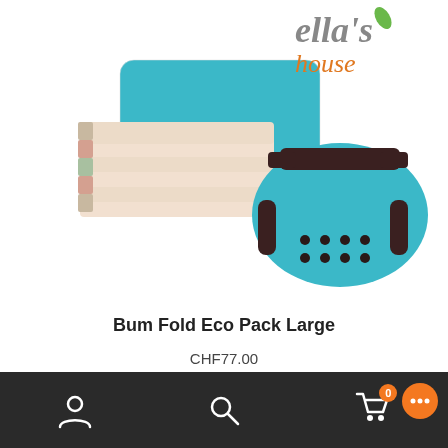[Figure (photo): Product photo showing a stack of beige/cream cloth diaper inserts, a teal/turquoise cloth diaper cover with dark brown trim and snaps, and a teal rectangular wet bag/pouch. Ella's House logo appears in the upper right corner with a green leaf accent.]
Bum Fold Eco Pack Large
CHF77.00